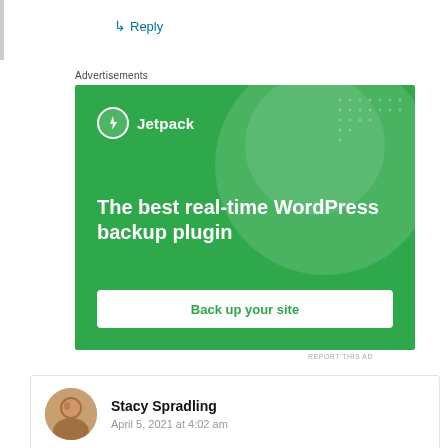↳ Reply
Advertisements
[Figure (illustration): Jetpack advertisement banner: green background with decorative circles and dots, Jetpack logo at top left, headline 'The best real-time WordPress backup plugin', and a white CTA button 'Back up your site']
REPORT THIS AD
Stacy Spradling
April 5, 2021 at 4:02 am